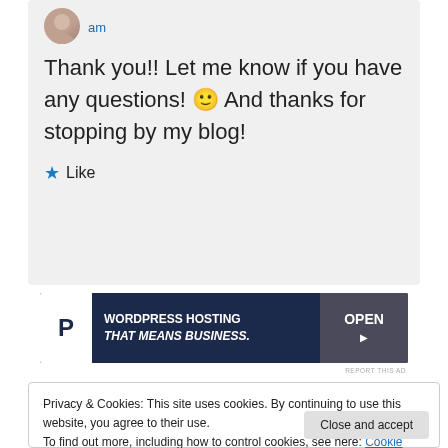am
Thank you!! Let me know if you have any questions! 🙂 And thanks for stopping by my blog!
Like
[Figure (other): WordPress Hosting That Means Business advertisement banner with OPEN sign photo]
REPORT THIS AD
Privacy & Cookies: This site uses cookies. By continuing to use this website, you agree to their use.
To find out more, including how to control cookies, see here: Cookie Policy
Close and accept
replying as I have been quite busy. You have a